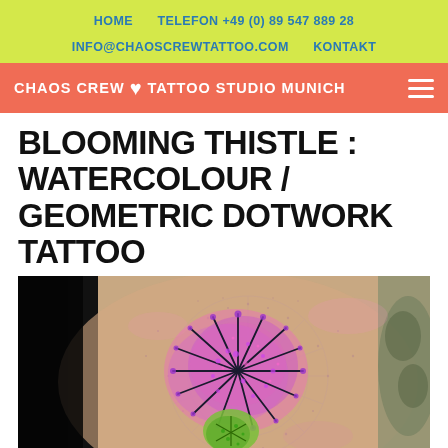HOME   TELEFON +49 (0) 89 547 889 28   INFO@CHAOSCREWTATTOO.COM   KONTAKT
CHAOS CREW ♥ TATTOO STUDIO MUNICH
BLOOMING THISTLE : WATERCOLOUR / GEOMETRIC DOTWORK TATTOO
[Figure (photo): A colorful watercolour and geometric dotwork tattoo of a blooming thistle flower on skin. The thistle features vibrant purple and pink petals with dark black line details, a green bud at the bottom, set against a geometric mandala-style dotwork background. Another tattoo is partially visible on the right side.]